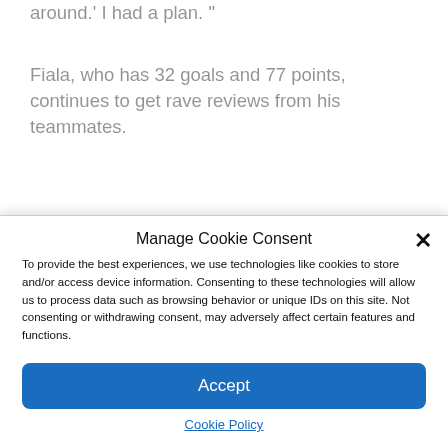around.' I had a plan. ”
Fiala, who has 32 goals and 77 points, continues to get rave reviews from his teammates.
“That’s guy’s something,” Deslauriers said. “He’s so gifted, I don’t know who was beside
Manage Cookie Consent
To provide the best experiences, we use technologies like cookies to store and/or access device information. Consenting to these technologies will allow us to process data such as browsing behavior or unique IDs on this site. Not consenting or withdrawing consent, may adversely affect certain features and functions.
Accept
Cookie Policy